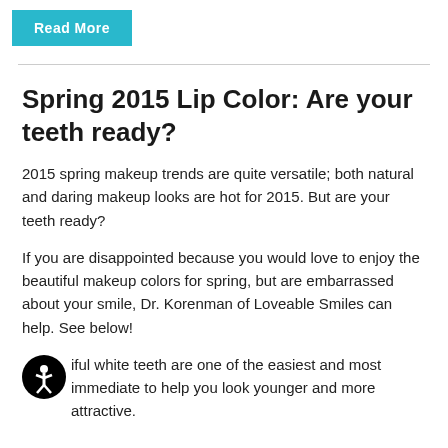Read More
Spring 2015 Lip Color: Are your teeth ready?
2015 spring makeup trends are quite versatile; both natural and daring makeup looks are hot for 2015. But are your teeth ready?
If you are disappointed because you would love to enjoy the beautiful makeup colors for spring, but are embarrassed about your smile, Dr. Korenman of Loveable Smiles can help. See below!
Beautiful white teeth are one of the easiest and most immediate to help you look younger and more attractive.